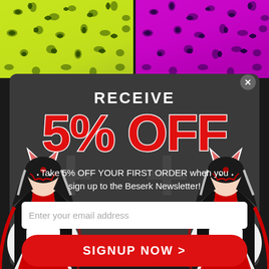[Figure (photo): Two product images side by side at top: left shows yellow-green leopard print pattern on surface, right shows pink/magenta leopard print pattern on dark surface]
[Figure (illustration): Popup modal overlay with dark grey background featuring anime-style fox spirit (kitsune) characters in red and white kimono on either side, with a decorative plus/cross pattern in the background]
RECEIVE
5% OFF
Take 5% OFF YOUR FIRST ORDER when you sign up to the Beserk Newsletter!
Enter your email address
SIGNUP NOW >